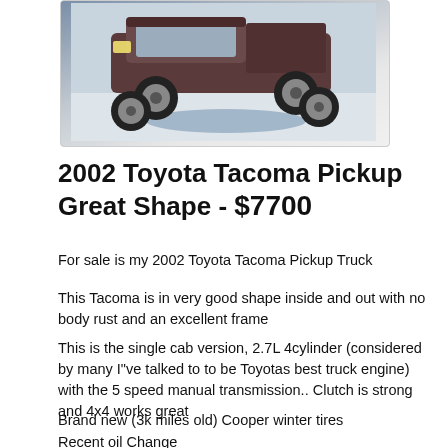[Figure (photo): Photo of a 2002 Toyota Tacoma pickup truck on a snowy/icy surface, viewed from front-left angle, airborne or on uneven terrain]
2002 Toyota Tacoma Pickup Great Shape - $7700
For sale is my 2002 Toyota Tacoma Pickup Truck
This Tacoma is in very good shape inside and out with no body rust and an excellent frame
This is the single cab version, 2.7L 4cylinder (considered by many I"ve talked to to be Toyotas best truck engine) with the 5 speed manual transmission.. Clutch is strong and 4x4 works great
Brand new (3k miles old) Cooper winter tires
Recent oil Change
Recent rear differential oil change
O2 Sensor
Front brakes and rotors